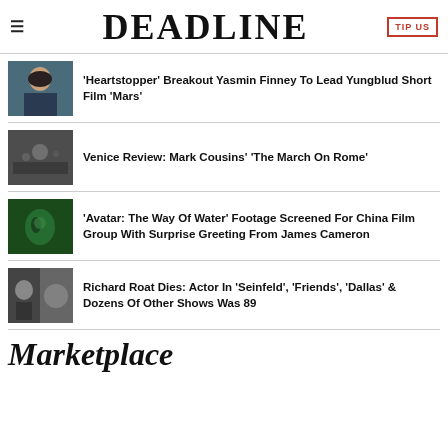DEADLINE
'Heartstopper' Breakout Yasmin Finney To Lead Yungblud Short Film 'Mars'
Venice Review: Mark Cousins' 'The March On Rome'
'Avatar: The Way Of Water' Footage Screened For China Film Group With Surprise Greeting From James Cameron
Richard Roat Dies: Actor In 'Seinfeld', 'Friends', 'Dallas' & Dozens Of Other Shows Was 89
Marketplace